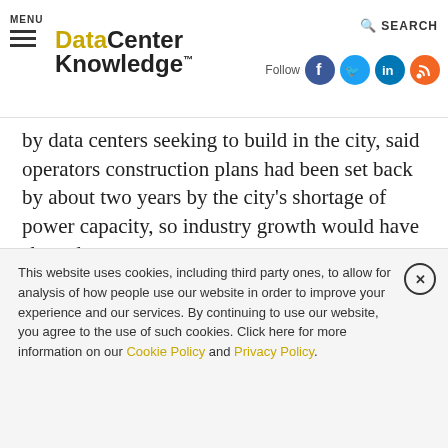MENU | DataCenter Knowledge | Follow | SEARCH
by data centers seeking to build in the city, said operators construction plans had been set back by about two years by the city's shortage of power capacity, so industry growth would have slowed anyway.
TAGS: EUROPE ENERGY
COMMENTS
This website uses cookies, including third party ones, to allow for analysis of how people use our website in order to improve your experience and our services. By continuing to use our website, you agree to the use of such cookies. Click here for more information on our Cookie Policy and Privacy Policy.